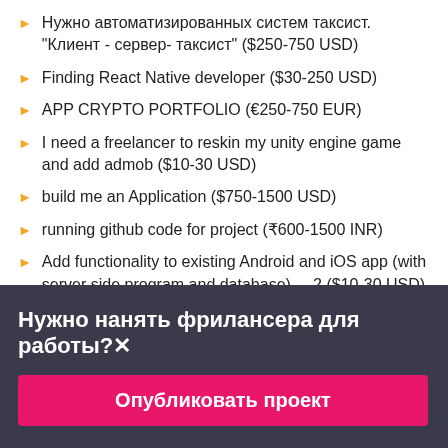Нужно автоматизированных систем таксист. "Клиент - сервер- таксист" ($250-750 USD)
Finding React Native developer ($30-250 USD)
APP CRYPTO PORTFOLIO (€250-750 EUR)
I need a freelancer to reskin my unity engine game and add admob ($10-30 USD)
build me an Application ($750-1500 USD)
running github code for project (₹600-1500 INR)
Add functionality to existing Android and iOS app (with server side program and database). – 2 ($10-30 USD)
Нужно нанять фрилансера для работы?✕
Опубликовать проект